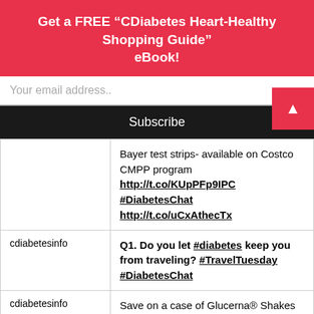Get a FREE “CDiabetes Heart-Healthy Shopping Guide” eBook!
Your email address..
Subscribe
|  |  |
| --- | --- |
|  | Bayer test strips- available on Costco CMPP program http://t.co/KUpPFp9IPC #DiabetesChat http://t.co/uCxAthecTx |
| cdiabetesinfo | Q1. Do you let #diabetes keep you from traveling? #TravelTuesday #DiabetesChat |
| cdiabetesinfo | Save on a case of Glucerna® Shakes @ Costco! hobeconomics... |